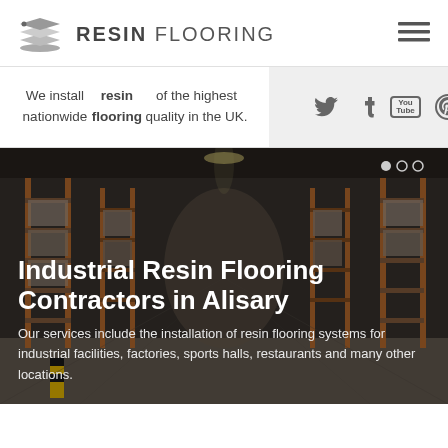[Figure (logo): Resin Flooring logo with stacked layers icon and text RESIN FLOORING]
We install nationwide resin flooring of the highest quality in the UK.
[Figure (infographic): Social media icons: Twitter, Tumblr, YouTube, Pinterest on grey background]
[Figure (photo): Industrial warehouse interior with shelving racks and resin floor]
Industrial Resin Flooring Contractors in Alisary
Our services include the installation of resin flooring systems for industrial facilities, factories, sports halls, restaurants and many other locations.